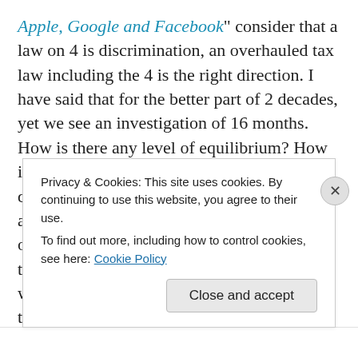Apple, Google and Facebook" consider that a law on 4 is discrimination, an overhauled tax law including the 4 is the right direction. I have said that for the better part of 2 decades, yet we see an investigation of 16 months. How is there any level of equilibrium? How is there balance on al fronts when 4 are demonised? So when will they limit Netflix and Disney plus to give 'equal' way to the others? It is the beginning of dead people trying to live a little longer. Soon America will see a larger setting, soon they will claim the union of patents and IP into the economy, because it will be best for all the people, a limitation of 5 is preferable
Privacy & Cookies: This site uses cookies. By continuing to use this website, you agree to their use.
To find out more, including how to control cookies, see here: Cookie Policy
Close and accept